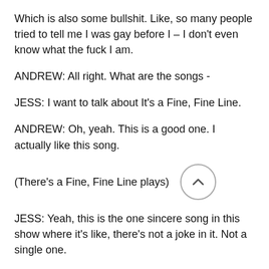Which is also some bullshit. Like, so many people tried to tell me I was gay before I – I don't even know what the fuck I am.
ANDREW: All right. What are the songs -
JESS: I want to talk about It's a Fine, Fine Line.
ANDREW: Oh, yeah. This is a good one. I actually like this song.
(There's a Fine, Fine Line plays)
JESS: Yeah, this is the one sincere song in this show where it's like, there's not a joke in it. Not a single one.